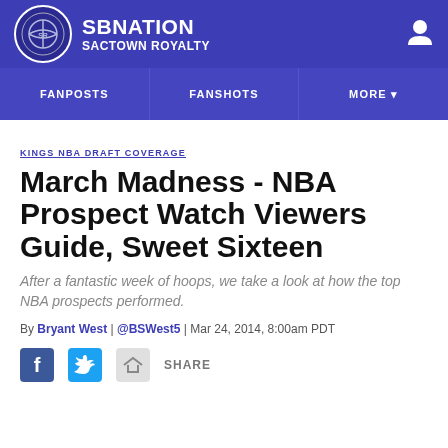SB NATION | SACTOWN ROYALTY
FANPOSTS | FANSHOTS | MORE
KINGS NBA DRAFT COVERAGE
March Madness - NBA Prospect Watch Viewers Guide, Sweet Sixteen
After a fantastic week of hoops, we take a look at how the top NBA prospects performed.
By Bryant West | @BSWest5 | Mar 24, 2014, 8:00am PDT